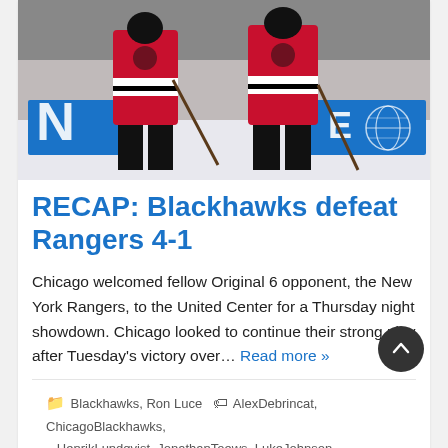[Figure (photo): Two Chicago Blackhawks players in red and black jerseys standing on ice, with a blue sponsor banner (United Center) in the background.]
RECAP: Blackhawks defeat Rangers 4-1
Chicago welcomed fellow Original 6 opponent, the New York Rangers, to the United Center for a Thursday night showdown. Chicago looked to continue their strong play after Tuesday's victory over… Read more »
Blackhawks, Ron Luce   AlexDebrincat, ChicagoBlackhawks, HenrikLundqvist, JonathanToews, LukeJohnson, NewYorkRangers, NickSchmaltz, PatrickKane